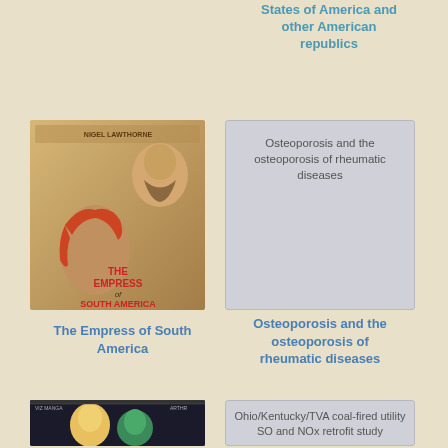States of America and other American republics
[Figure (illustration): Book cover of 'The Empress of South America' by Nigel Hawthorne, featuring a historical illustration of a woman and a bearded man]
[Figure (illustration): Gray placeholder card showing text: Osteoporosis and the osteoporosis of rheumatic diseases]
The Empress of South America
Osteoporosis and the osteoporosis of rheumatic diseases
[Figure (illustration): Manga-style book cover with anime characters, blonde and green-haired]
[Figure (illustration): Gray placeholder card showing text: Ohio/Kentucky/TVA coal-fired utility SO and NOx retrofit study]